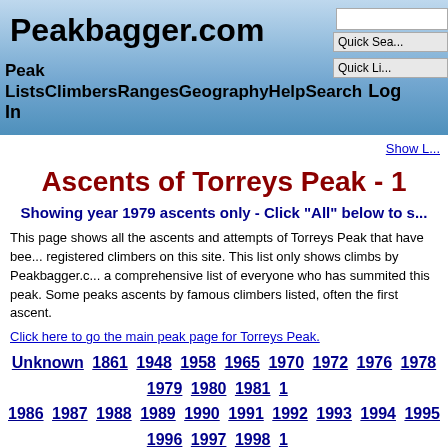Peakbagger.com | Peak Lists | Climbers | Ranges | Geography | Help | Search | Log In
Ascents of Torreys Peak - 19...
Showing year 1979 ascents only - Click "All" below to s...
This page shows all the ascents and attempts of Torreys Peak that have been registered climbers on this site. This list only shows climbs by Peakbagger.c... a comprehensive list of everyone who has summited this peak. Some peaks ascents by famous climbers listed, often the first ascent.
Click here to go the main peak page for Torreys Peak.
Unknown 1861 1948 1958 1965 1970 1972 1976 1978 1979 1980 1981 1... 1986 1987 1988 1989 1990 1991 1992 1993 1994 1995 1996 1997 1998 1... 2003 2004 2005 2006 2007 2008 2009 2010 2011 2012 2013 2014 2015 2... 2020 2021 2022 All
| Ascent Date [sort desc] | TripReport | GPS | Climber | Route | Attempt Only | Gain-Ft | Trip-Ft | Mi | Ro Ico |
| --- | --- | --- | --- | --- | --- | --- | --- | --- | --- |
| 1979-08 a3 |  |  | Packard, Bob |  |  |  |  |  |  |